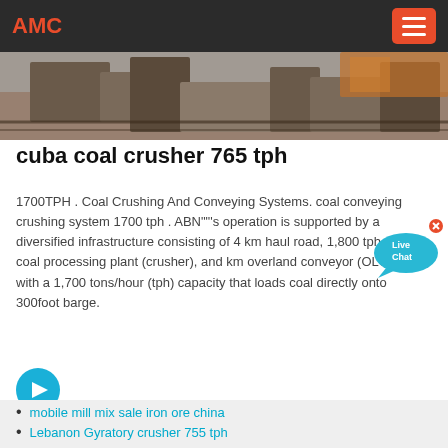AMC
[Figure (photo): Industrial coal crusher machinery, outdoor setting]
cuba coal crusher 765 tph
1700TPH . Coal Crushing And Conveying Systems. coal conveying crushing system 1700 tph . ABN""'s operation is supported by a diversified infrastructure consisting of 4 km haul road, 1,800 tph coal processing plant (crusher), and km overland conveyor (OLC) with a 1,700 tons/hour (tph) capacity that loads coal directly onto 300foot barge.
mobile mill mix sale iron ore china
Lebanon Gyratory crusher 755 tph
copper rock sands beneficiation plant